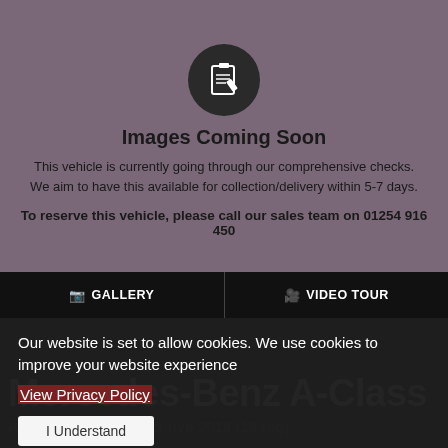[Figure (photo): Car dealership forecourt background image with dark overlay, showing a clipboard/checklist icon in a dark circle, text 'Images Coming Soon', body text about vehicle checks, and reservation phone number]
Images Coming Soon
This vehicle is currently going through our comprehensive checks. We aim to have this available for collection/delivery within 5-7 days.
To reserve this vehicle, please call our sales team on 01254 916 450
GALLERY   VIDEO TOUR
Our website is set to allow cookies. We use cookies to improve your website experience
View Privacy Policy
I Understand
Mercedes-Benz A-Class
A 200 Amg Line Executive 2018 (18 reg)